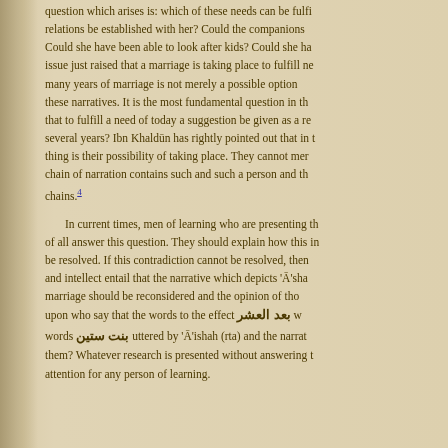question which arises is: which of these needs can be fulfilled if marital relations be established with her? Could the companions... Could she have been able to look after kids? Could she ha... issue just raised that a marriage is taking place to fulfill ne... many years of marriage is not merely a possible option in these narratives. It is the most fundamental question in th... that to fulfill a need of today a suggestion be given as a re... several years? Ibn Khaldūn has rightly pointed out that in th... thing is their possibility of taking place. They cannot mer... chain of narration contains such and such a person and th... chains.[4]

In current times, men of learning who are presenting th... of all answer this question. They should explain how this in... be resolved. If this contradiction cannot be resolved, then... and intellect entail that the narrative which depicts 'Ā'sha... marriage should be reconsidered and the opinion of tho... upon who say that the words to the effect بعد العشر w... words بنت ستين uttered by 'Ā'ishah (rta) and the narrat... them? Whatever research is presented without answering t... attention for any person of learning.